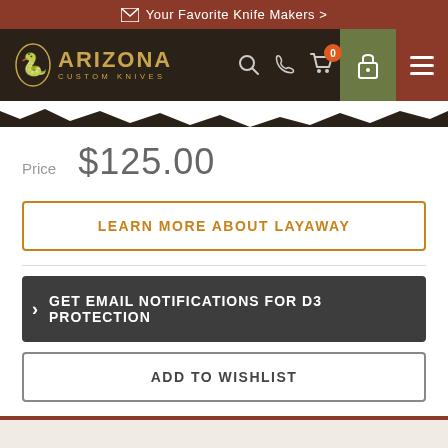Your Favorite Knife Makers >
[Figure (logo): Arizona Custom Knives logo with snake emblem and gold text on dark brown navbar]
Price  $125.00
LEARN MORE ABOUT LAYAWAY
GET EMAIL NOTIFICATIONS FOR D3 PROTECTION
ADD TO WISHLIST